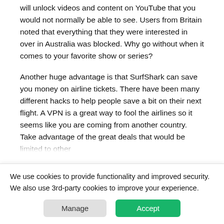will unlock videos and content on YouTube that you would not normally be able to see. Users from Britain noted that everything that they were interested in over in Australia was blocked. Why go without when it comes to your favorite show or series?
Another huge advantage is that SurfShark can save you money on airline tickets. There have been many different hacks to help people save a bit on their next flight. A VPN is a great way to fool the airlines so it seems like you are coming from another country. Take advantage of the great deals that would be limited to other
We use cookies to provide functionality and improved security. We also use 3rd-party cookies to improve your experience.